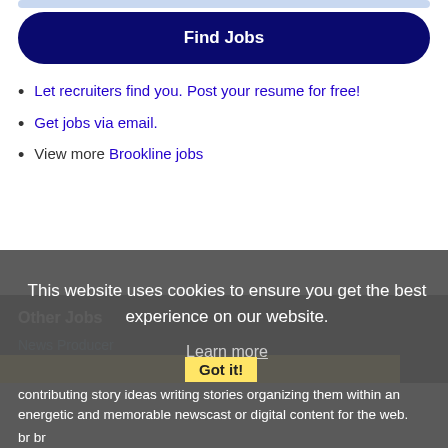[Figure (other): Partial top grey/blue rounded bar at very top of page]
Find Jobs
Let recruiters find you. Post your resume for free!
Get jobs via email.
View more Brookline jobs
This website uses cookies to ensure you get the best experience on our website.
Learn more
Other Jobs
News Producer
Description: The Associate Producer is responsible for contributing story ideas writing stories organizing them within an energetic and memorable newscast or digital content for the web. br br
Got it!